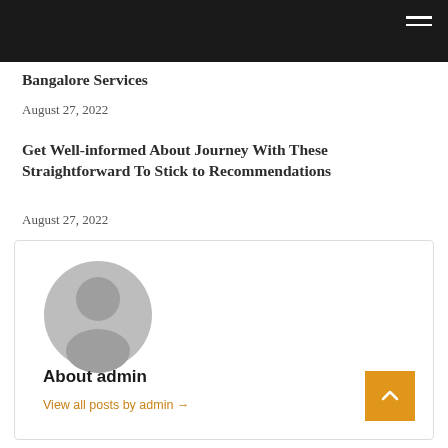Bangalore Services
August 27, 2022
Get Well-informed About Journey With These Straightforward To Stick to Recommendations
August 27, 2022
[Figure (illustration): Default user avatar silhouette in gray circle]
About admin
View all posts by admin →